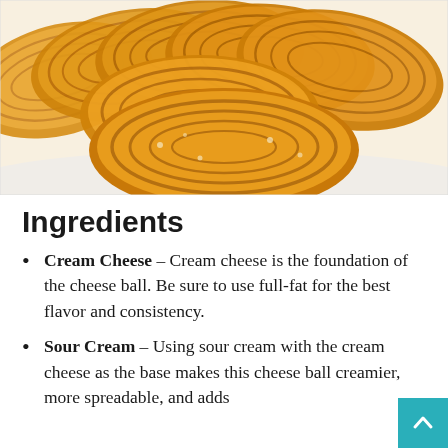[Figure (photo): Close-up photo of golden-brown fried pastries or crackers stacked/overlapping on a white surface, showing crispy ridged texture.]
Ingredients
Cream Cheese – Cream cheese is the foundation of the cheese ball. Be sure to use full-fat for the best flavor and consistency.
Sour Cream – Using sour cream with the cream cheese as the base makes this cheese ball creamier, more spreadable, and adds